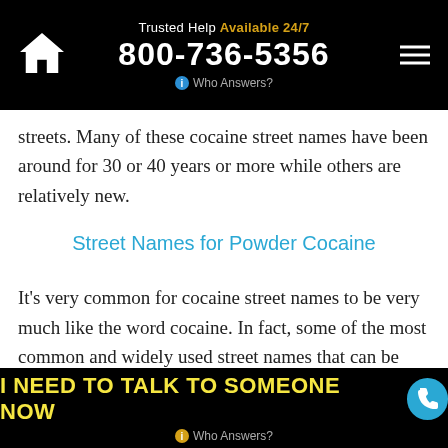Trusted Help Available 24/7 800-736-5356 Who Answers?
streets. Many of these cocaine street names have been around for 30 or 40 years or more while others are relatively new.
Street Names for Powder Cocaine
It's very common for cocaine street names to be very much like the word cocaine. In fact, some of the most common and widely used street names that can be heard describing the drug are very easy
I NEED TO TALK TO SOMEONE NOW  Who Answers?